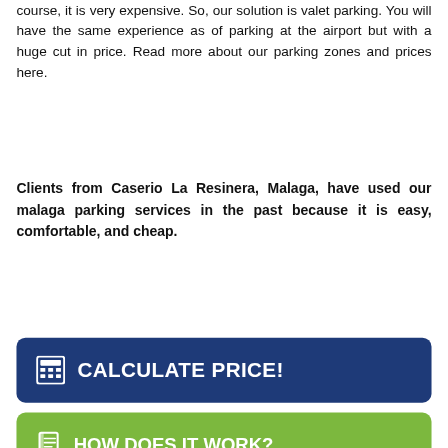course, it is very expensive. So, our solution is valet parking. You will have the same experience as of parking at the airport but with a huge cut in price. Read more about our parking zones and prices here.
Clients from Caserio La Resinera, Malaga, have used our malaga parking services in the past because it is easy, comfortable, and cheap.
CALCULATE PRICE!
HOW DOES IT WORK?
Our concept: Malaga parking
Casa de Cerro Hernando (Malaga)  Los Corrales (Malaga)
Santa Cristina (Malaga)  Jeres del Marquesado (Malaga)